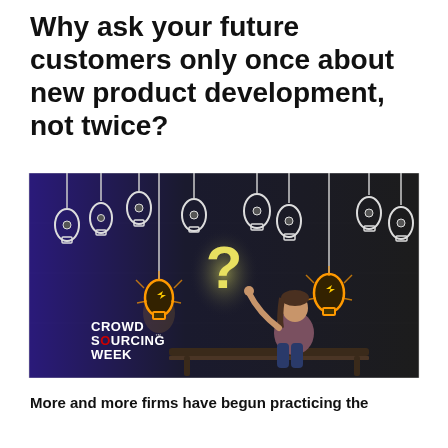Why ask your future customers only once about new product development, not twice?
[Figure (illustration): Dark background image showing hanging lightbulbs (mostly white outlines, two glowing orange/yellow) and a glowing question mark in the center. A woman sits on a bench pointing up at the question mark. Bottom left shows the Crowd Sourcing Week logo in white text.]
More and more firms have begun practicing the